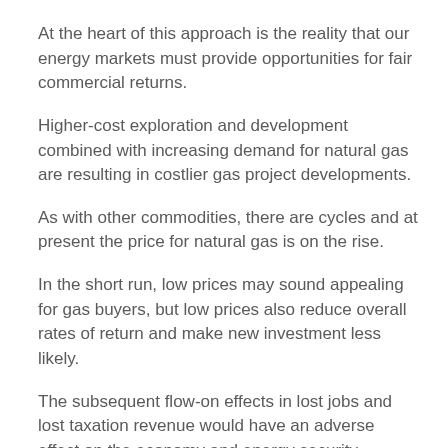At the heart of this approach is the reality that our energy markets must provide opportunities for fair commercial returns.
Higher-cost exploration and development combined with increasing demand for natural gas are resulting in costlier gas project developments.
As with other commodities, there are cycles and at present the price for natural gas is on the rise.
In the short run, low prices may sound appealing for gas buyers, but low prices also reduce overall rates of return and make new investment less likely.
The subsequent flow-on effects in lost jobs and lost taxation revenue would have an adverse effect on the economy and energy security.
This is why the persistent calls by the manufacturing